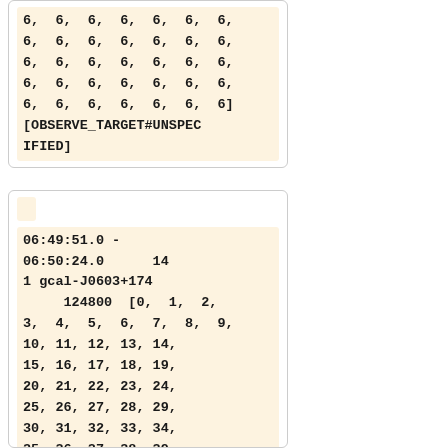6, 6, 6, 6, 6, 6, 6, 6, 6, 6, 6, 6, 6, 6, 6, 6, 6, 6, 6, 6, 6, 6, 6, 6, 6, 6, 6, 6, 6, 6, 6, 6, 6, 6, 6] [OBSERVE_TARGET#UNSPECIFIED]
06:49:51.0 - 06:50:24.0      14 1 gcal-J0603+174      124800  [0, 1, 2, 3, 4, 5, 6, 7, 8, 9, 10, 11, 12, 13, 14, 15, 16, 17, 18, 19, 20, 21, 22, 23, 24, 25, 26, 27, 28, 29, 30, 31, 32, 33, 34, 35, 36, 37, 38, 39, 40, 41, 42, 43, 44, 45, 46, 47, 48, 49,